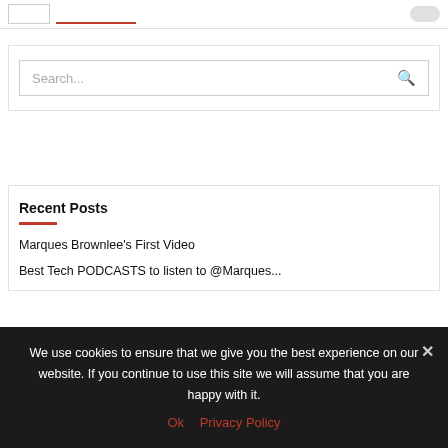[Figure (screenshot): Top navigation bar with logo box, underlined nav item in red, toggle switch, and icons]
[Figure (screenshot): Search bar with placeholder text 'Search...' and a search icon on the right]
Recent Posts
Marques Brownlee's First Video
Best Tech PODCASTS to listen to @Marques...
We use cookies to ensure that we give you the best experience on our website. If you continue to use this site we will assume that you are happy with it.
Ok   Privacy Policy